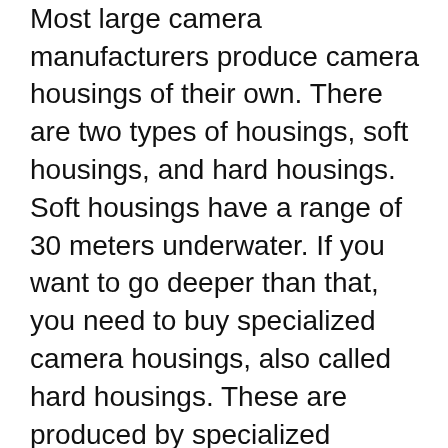have to buy a camera housing. Most large camera manufacturers produce camera housings of their own. There are two types of housings, soft housings, and hard housings. Soft housings have a range of 30 meters underwater. If you want to go deeper than that, you need to buy specialized camera housings, also called hard housings. These are produced by specialized underwater gear manufacturers, but they are expensive, and not easily available.
Hard, specialized housings come with flash diffusers of their own. They also have options for you to attach external probes and underwater lights to the camera. This ensures everything you need is at your fingertips.